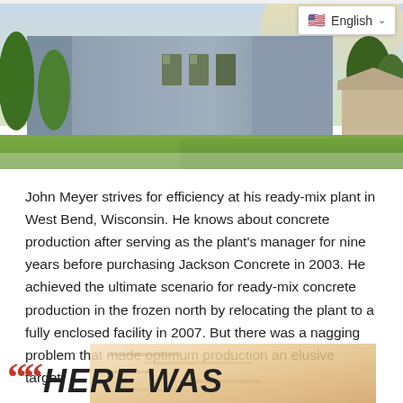[Figure (photo): Exterior photo of an industrial ready-mix concrete plant building in West Bend, Wisconsin. Gray metal building with windows, green lawn, trees, and bright sky in background. Language selector overlay showing English with flag icon in top right corner.]
John Meyer strives for efficiency at his ready-mix plant in West Bend, Wisconsin. He knows about concrete production after serving as the plant's manager for nine years before purchasing Jackson Concrete in 2003. He achieved the ultimate scenario for ready-mix concrete production in the frozen north by relocating the plant to a fully enclosed facility in 2007. But there was a nagging problem that made optimum production an elusive target.
““ HERE WAS